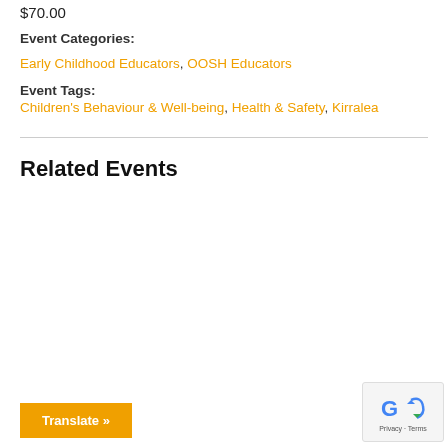$70.00
Event Categories:
Early Childhood Educators, OOSH Educators
Event Tags:
Children's Behaviour & Well-being, Health & Safety, Kirralea
Related Events